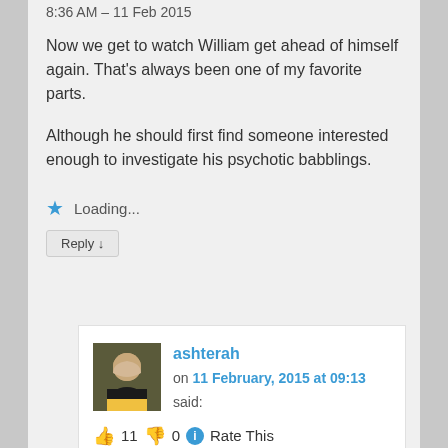8:36 AM – 11 Feb 2015
Now we get to watch William get ahead of himself again. That's always been one of my favorite parts.
Although he should first find someone interested enough to investigate his psychotic babblings.
⭐ Loading...
Reply ↓
ashterah
on 11 February, 2015 at 09:13 said:
👍 11 👎 0 ℹ Rate This
His wishcasting is always spectacular. Three! Criminal! Counts! ZOMG! Yeah, right, Shakey. SMH